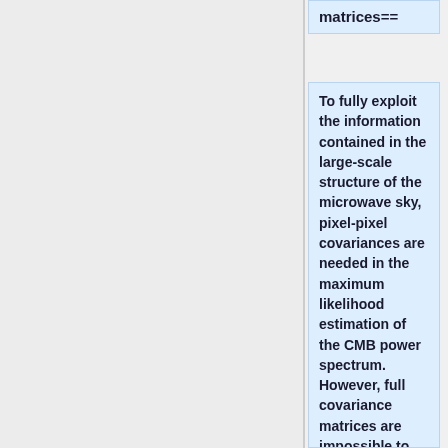matrices==
To fully exploit the information contained in the large-scale structure of the microwave sky, pixel-pixel covariances are needed in the maximum likelihood estimation of the CMB power spectrum. However, full covariance matrices are impossible to employ at the native map resolution due